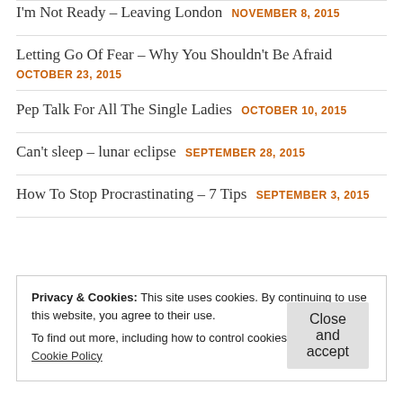I'm Not Ready – Leaving London  NOVEMBER 8, 2015
Letting Go Of Fear – Why You Shouldn't Be Afraid  OCTOBER 23, 2015
Pep Talk For All The Single Ladies  OCTOBER 10, 2015
Can't sleep – lunar eclipse  SEPTEMBER 28, 2015
How To Stop Procrastinating – 7 Tips  SEPTEMBER 3, 2015
Tags
Privacy & Cookies: This site uses cookies. By continuing to use this website, you agree to their use. To find out more, including how to control cookies, see here: Cookie Policy
Close and accept